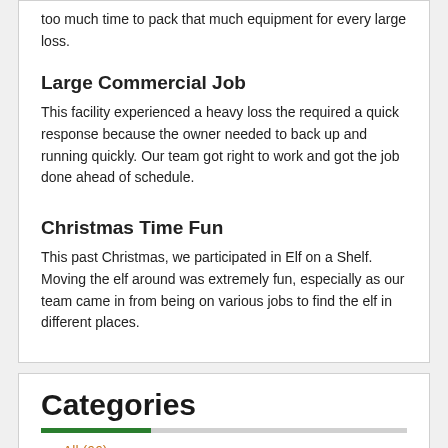too much time to pack that much equipment for every large loss.
Large Commercial Job
This facility experienced a heavy loss the required a quick response because the owner needed to back up and running quickly. Our team got right to work and got the job done ahead of schedule.
Christmas Time Fun
This past Christmas, we participated in Elf on a Shelf. Moving the elf around was extremely fun, especially as our team came in from being on various jobs to find the elf in different places.
Categories
All (66)